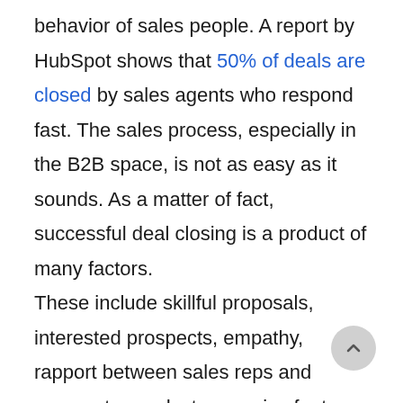behavior of sales people. A report by HubSpot shows that 50% of deals are closed by sales agents who respond fast. The sales process, especially in the B2B space, is not as easy as it sounds. As a matter of fact, successful deal closing is a product of many factors.

These include skillful proposals, interested prospects, empathy, rapport between sales reps and prospects, product or service features and negotiation. With 44% of